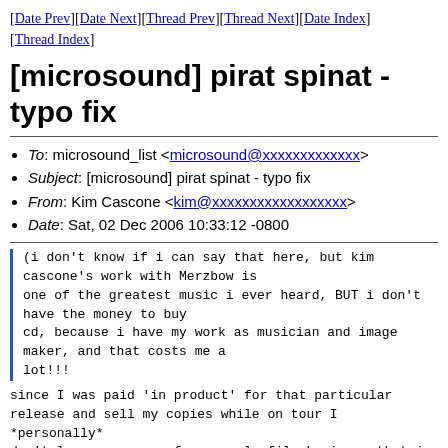[Date Prev][Date Next][Thread Prev][Thread Next][Date Index][Thread Index]
[microsound] pirat spinat - typo fix
To: microsound_list <microsound@xxxxxxxxxxxxx>
Subject: [microsound] pirat spinat - typo fix
From: Kim Cascone <kim@xxxxxxxxxxxxxxxxxx>
Date: Sat, 02 Dec 2006 10:33:12 -0800
(i don't know if i can say that here, but kim cascone's work with Merzbow is
one of the greatest music i ever heard, BUT i don't have the money to buy
cd, because i have my work as musician and image maker, and that costs me a
lot!!!
since I was paid 'in product' for that particular release and sell my copies while on tour I *personally* don't lose any money from people filesharing...that is